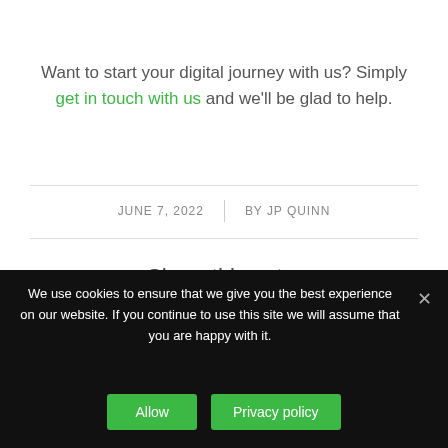Want to start your digital journey with us? Simply get in touch with us and we'll be glad to help.
JUNE 7, 2022 | BY JP QUINN
Share this entry
We use cookies to ensure that we give you the best experience on our website. If you continue to use this site we will assume that you are happy with it.